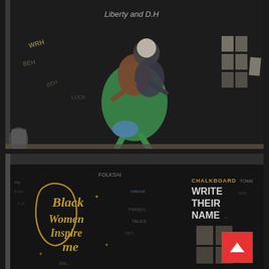[Figure (photo): Dark chalkboard art showing two figures dancing — a person with a white/gray head in a patterned jacket dancing with a person in a green skirt. Graffiti text including 'Liberty and D.H' at top. Various chalk drawings and posted flyers visible on the surrounding wall.]
[Figure (photo): Dark chalkboard with golden/yellow cursive graffiti text reading 'Black Women Inspire Me' with a silhouette profile outline. Blue and white chalk writing covers surrounding areas. Right side shows 'CHALKBOARD WRITE THEIR NAME' text in yellow, with small posted photos below. A red button with white up-arrow chevron visible in bottom right.]